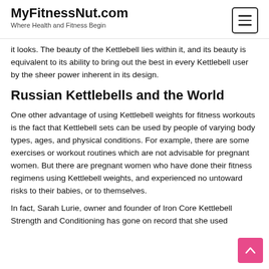MyFitnessNut.com
Where Health and Fitness Begin
it looks. The beauty of the Kettlebell lies within it, and its beauty is equivalent to its ability to bring out the best in every Kettlebell user by the sheer power inherent in its design.
Russian Kettlebells and the World
One other advantage of using Kettlebell weights for fitness workouts is the fact that Kettlebell sets can be used by people of varying body types, ages, and physical conditions. For example, there are some exercises or workout routines which are not advisable for pregnant women. But there are pregnant women who have done their fitness regimens using Kettlebell weights, and experienced no untoward risks to their babies, or to themselves.
In fact, Sarah Lurie, owner and founder of Iron Core Kettlebell Strength and Conditioning has gone on record that she used